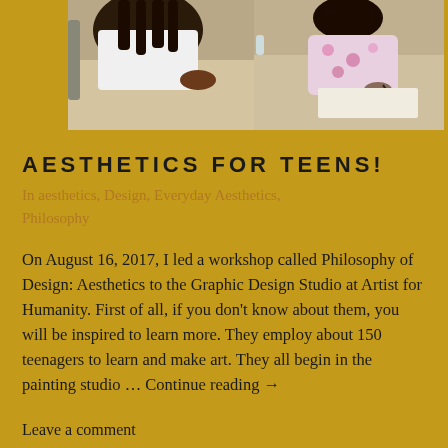[Figure (photo): Students working at desks in a graphic design studio, viewed from above. A person with braids in a white top and another in a pink floral shirt are visible drawing/writing.]
AESTHETICS FOR TEENS!
In aesthetics, Design, Everyday Aesthetics, Philosophy
On August 16, 2017, I led a workshop called Philosophy of Design: Aesthetics to the Graphic Design Studio at Artist for Humanity. First of all, if you don't know about them, you will be inspired to learn more. They employ about 150 teenagers to learn and make art. They all begin in the painting studio … Continue reading →
Leave a comment